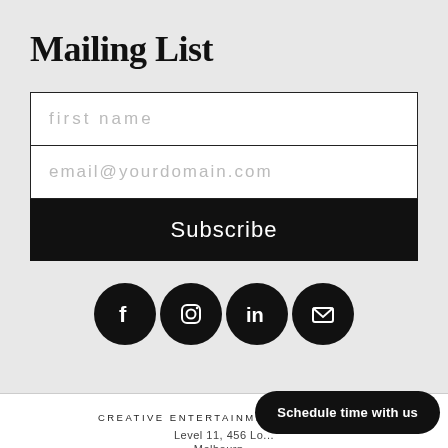Mailing List
first name
email@yourdomain.com
Subscribe
[Figure (infographic): Four social media icons (Facebook, Instagram, LinkedIn, Email) as white icons on black circles]
CREATIVE ENTERTAINMENT AGENCY®
Level 11, 456 Lo...
Melbourn...
PRIVACY POLICY
Schedule time with us